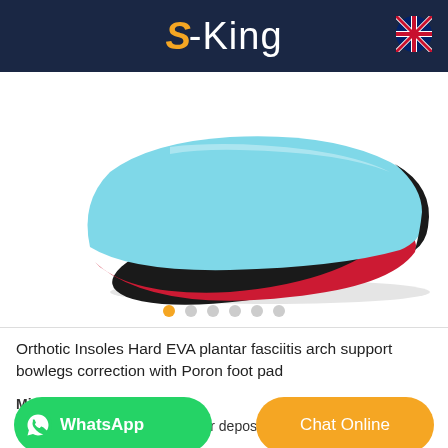S-King
[Figure (photo): A light blue and red orthotic insole shoe insert photographed from the side/above, showing a curved insole shape with black bottom, light blue top surface and red trim edge, on a white background.]
Orthotic Insoles Hard EVA plantar fasciitis arch support bowlegs correction with Poron foot pad
Min. Order: 500 PCS
Trade Term: 30 days after deposite
[Figure (infographic): WhatsApp button (green rounded rectangle with WhatsApp logo and text 'WhatsApp')]
[Figure (infographic): Chat Online button (orange rounded rectangle with text 'Chat Online')]